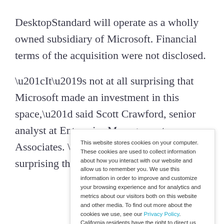DesktopStandard will operate as a wholly owned subsidiary of Microsoft. Financial terms of the acquisition were not disclosed.
“It’s not at all surprising that Microsoft made an investment in this space,” said Scott Crawford, senior analyst at Enterprise Management Associates. “It’s not terribly surprising that they
This website stores cookies on your computer. These cookies are used to collect information about how you interact with our website and allow us to remember you. We use this information in order to improve and customize your browsing experience and for analytics and metrics about our visitors both on this website and other media. To find out more about the cookies we use, see our Privacy Policy. California residents have the right to direct us not to sell their personal information to third parties by filing an Opt-Out Request: Do Not Sell My Personal Info.
Accept